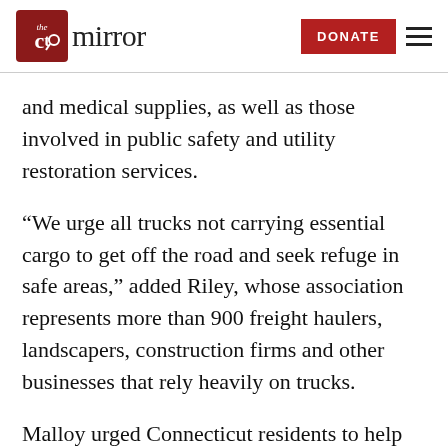the ct mirror — DONATE
and medical supplies, as well as those involved in public safety and utility restoration services.
“We urge all trucks not carrying essential cargo to get off the road and seek refuge in safe areas,” added Riley, whose association represents more than 900 freight haulers, landscapers, construction firms and other businesses that rely heavily on trucks.
Malloy urged Connecticut residents to help these trucks find a safe place to ride out the